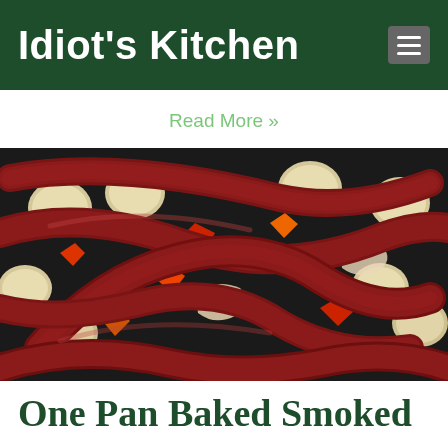Idiot's Kitchen
Read More »
[Figure (photo): A pan filled with smoked sausages, sliced potatoes, onions, and red and orange bell peppers, baked together in a roasting pan.]
One Pan Baked Smoked